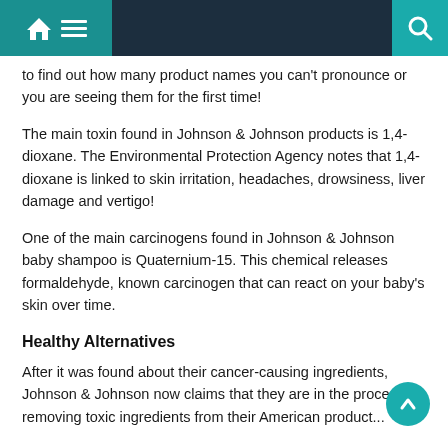Navigation bar with home, menu, and search icons
to find out how many product names you can't pronounce or you are seeing them for the first time!
The main toxin found in Johnson & Johnson products is 1,4-dioxane. The Environmental Protection Agency notes that 1,4-dioxane is linked to skin irritation, headaches, drowsiness, liver damage and vertigo!
One of the main carcinogens found in Johnson & Johnson baby shampoo is Quaternium-15. This chemical releases formaldehyde, known carcinogen that can react on your baby's skin over time.
Healthy Alternatives
After it was found about their cancer-causing ingredients, Johnson & Johnson now claims that they are in the process of removing toxic ingredients from their American product...